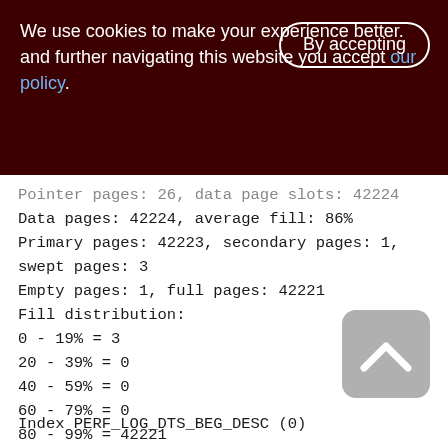We use cookies to make your experience better. By accepting and further navigating this website you accept our policy.
Pointer pages: 26, data page slots: 42224
Data pages: 42224, average fill: 86%
Primary pages: 42223, secondary pages: 1, swept pages: 3
Empty pages: 1, full pages: 42221
Fill distribution:
0 - 19% = 3
20 - 39% = 0
40 - 59% = 0
60 - 79% = 0
80 - 99% = 42221
Index PERF_LOG_DTS_BEG_DESC (0)